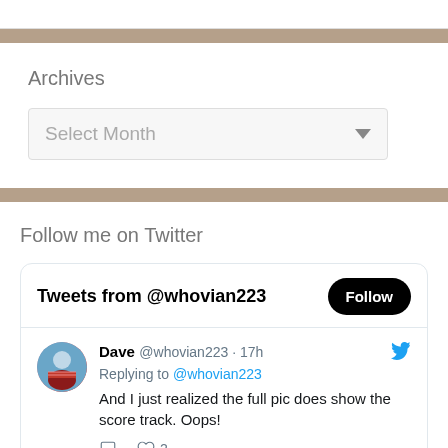Archives
Select Month
Follow me on Twitter
[Figure (screenshot): Twitter widget showing Tweets from @whovian223 with a Follow button, and a tweet by Dave @whovian223 from 17h ago replying to @whovian223: 'And I just realized the full pic does show the score track. Oops!' with 2 likes.]